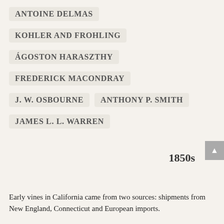ANTOINE DELMAS
KOHLER AND FROHLING
ÁGOSTON HARASZTHY
FREDERICK MACONDRAY
J. W. OSBOURNE
ANTHONY P. SMITH
JAMES L. L. WARREN
1850s
Early vines in California came from two sources: shipments from New England, Connecticut and European imports.
During the decade from 1852 to 1862, California nurserymen, hopeful vineyardists, and potential